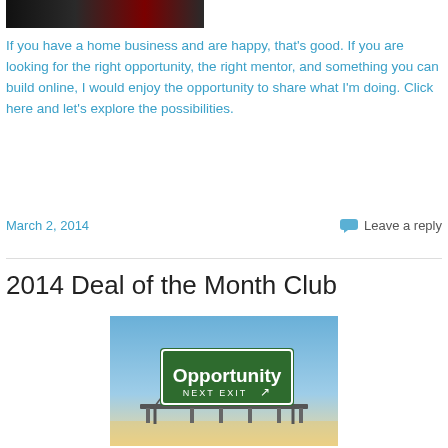[Figure (photo): Top portion of a partially visible image with dark tones and red accent]
If you have a home business and are happy, that's good. If you are looking for the right opportunity, the right mentor, and something you can build online, I would enjoy the opportunity to share what I'm doing. Click here and let's explore the possibilities.
March 2, 2014
Leave a reply
2014 Deal of the Month Club
[Figure (photo): Highway sign reading 'Opportunity NEXT EXIT' with an upward arrow, against a blue sky background]